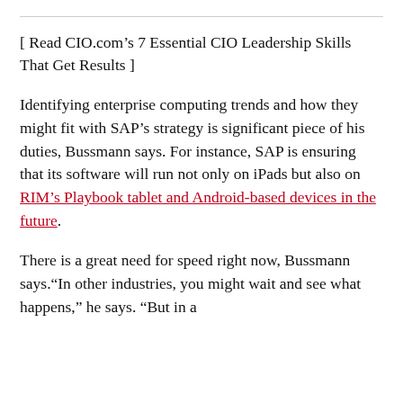[ Read CIO.com's 7 Essential CIO Leadership Skills That Get Results ]
Identifying enterprise computing trends and how they might fit with SAP’s strategy is significant piece of his duties, Bussmann says. For instance, SAP is ensuring that its software will run not only on iPads but also on RIM’s Playbook tablet and Android-based devices in the future.
There is a great need for speed right now, Bussmann says.“In other industries, you might wait and see what happens,” he says. “But in a